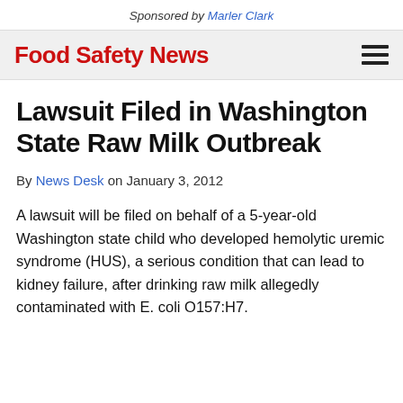Sponsored by Marler Clark
Food Safety News
Lawsuit Filed in Washington State Raw Milk Outbreak
By News Desk on January 3, 2012
A lawsuit will be filed on behalf of a 5-year-old Washington state child who developed hemolytic uremic syndrome (HUS), a serious condition that can lead to kidney failure, after drinking raw milk allegedly contaminated with E. coli O157:H7.